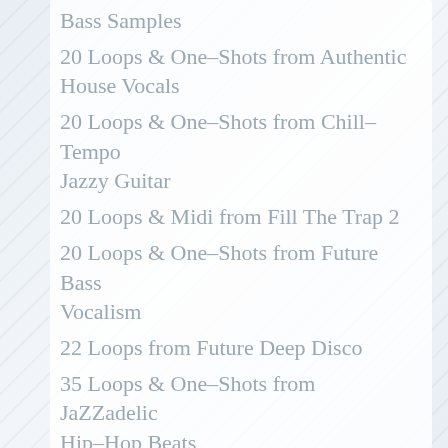Bass Samples
20 Loops & One-Shots from Authentic House Vocals
20 Loops & One-Shots from Chill-Tempo Jazzy Guitar
20 Loops & Midi from Fill The Trap 2
20 Loops & One-Shots from Future Bass Vocalism
22 Loops from Future Deep Disco
35 Loops & One-Shots from JaZZadelic Hip-Hop Beats
24 Loops & One-Shots from Lofi Hip-Hop Drums 2
10 Loops & One-Shots from Nu Talkbox
33 Loops & One-Shots from Survival DnB